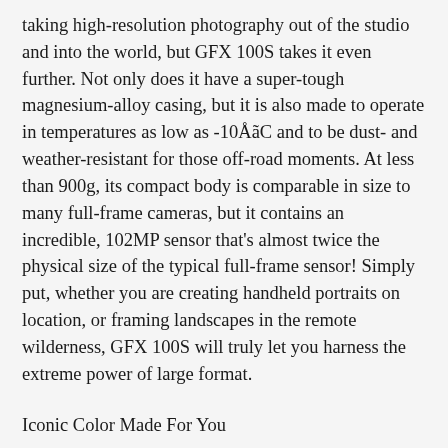taking high-resolution photography out of the studio and into the world, but GFX 100S takes it even further. Not only does it have a super-tough magnesium-alloy casing, but it is also made to operate in temperatures as low as -10ÅãC and to be dust- and weather-resistant for those off-road moments. At less than 900g, its compact body is comparable in size to many full-frame cameras, but it contains an incredible, 102MP sensor that's almost twice the physical size of the typical full-frame sensor! Simply put, whether you are creating handheld portraits on location, or framing landscapes in the remote wilderness, GFX 100S will truly let you harness the extreme power of large format.
Iconic Color Made For You